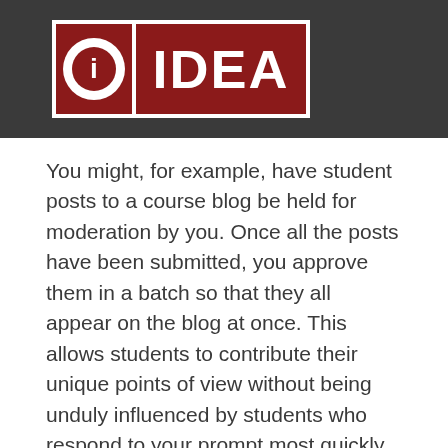[Figure (logo): IDEA logo — red rectangular box with white circle containing a red 'i' on the left, and 'IDEA' text in white on the right, set on a dark grey background]
You might, for example, have student posts to a course blog be held for moderation by you. Once all the posts have been submitted, you approve them in a batch so that they all appear on the blog at once. This allows students to contribute their unique points of view without being unduly influenced by students who respond to your prompt most quickly. See (15) for more on the importance of independent work to leveraging the diversity of thought and experiences in a group.
It is critical that students understand your means